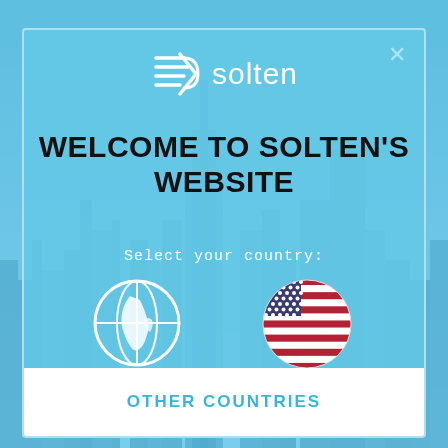[Figure (logo): Solten company logo — white arrow/lightning icon followed by 'solten' in white text]
WELCOME TO SOLTEN'S WEBSITE
Select your country:
[Figure (illustration): White globe/world icon circle — International option]
International
[Figure (illustration): United States flag circle icon]
United States
OTHER COUNTRIES